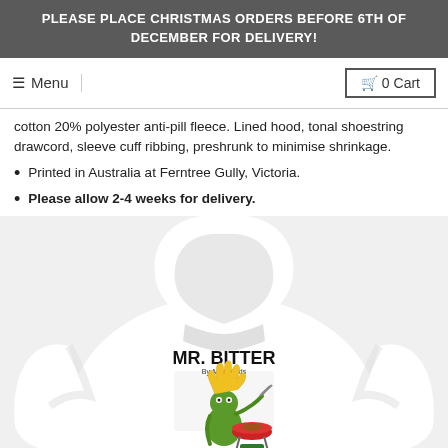PLEASE PLACE CHRISTMAS ORDERS BEFORE 6TH OF DECEMBER FOR DELIVERY!
☰ Menu   🛒 0 Cart
cotton 20% polyester anti-pill fleece. Lined hood, tonal shoestring drawcord, sleeve cuff ribbing, preshrunk to minimise shrinkage.
Printed in Australia at Ferntree Gully, Victoria.
Please allow 2-4 weeks for delivery.
[Figure (photo): White hoodie with MR. BITTER print featuring a cartoon frog character barbecuing, labeled 'By AussieKids']